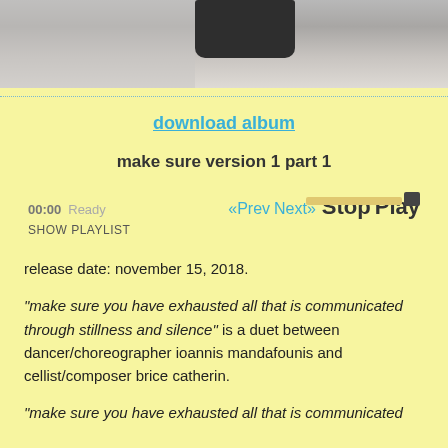[Figure (photo): Partial photo showing a dark object (possibly a device or shoe) on a light grey surface, cropped at top.]
download album
make sure version 1 part 1
00:00  Ready   «Prev  Next»  Stop  Play
SHOW PLAYLIST
release date: november 15, 2018.
"make sure you have exhausted all that is communicated through stillness and silence" is a duet between dancer/choreographer ioannis mandafounis and cellist/composer brice catherin.
"make sure you have exhausted all that is communicated